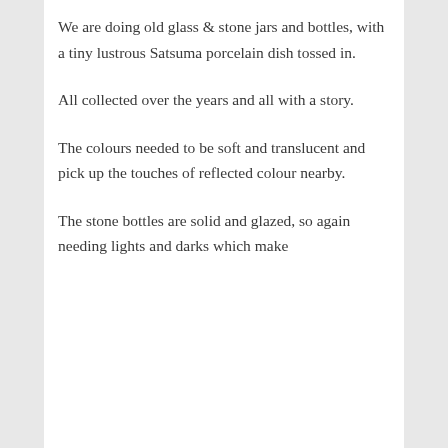We are doing old glass & stone jars and bottles, with a tiny lustrous Satsuma porcelain dish tossed in.
All collected over the years and all with a story.
The colours needed to be soft and translucent and pick up the touches of reflected colour nearby.
The stone bottles are solid and glazed, so again needing lights and darks which make